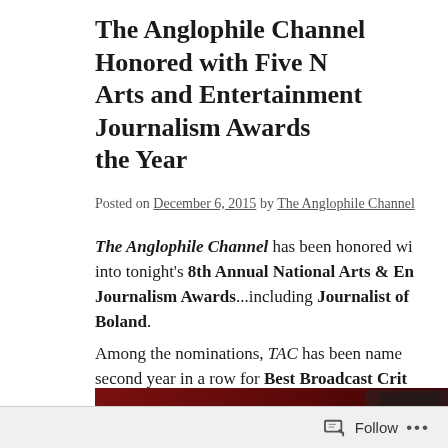The Anglophile Channel Honored with Five National Arts and Entertainment Journalism Awards of the Year
Posted on December 6, 2015 by The Anglophile Channel
The Anglophile Channel has been honored with going into tonight's 8th Annual National Arts & Entertainment Journalism Awards...including Journalist of Boland.
Among the nominations, TAC has been named second year in a row for Best Broadcast Critic... Boland and Kelly Monteith, for their classic series, "Brit Flix: Kelly, Paul and (Two Buck) C...
[Figure (photo): Partial image with dark red background and a decorative dark patterned element on the right side, partially cropped]